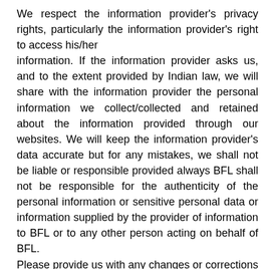We respect the information provider's privacy rights, particularly the information provider's right to access his/her information. If the information provider asks us, and to the extent provided by Indian law, we will share with the information provider the personal information we collect/collected and retained about the information provided through our websites. We will keep the information provider's data accurate but for any mistakes, we shall not be liable or responsible provided always BFL shall not be responsible for the authenticity of the personal information or sensitive personal data or information supplied by the provider of information to BFL or to any other person acting on behalf of BFL. Please provide us with any changes or corrections in data/information of the provider of information by sending